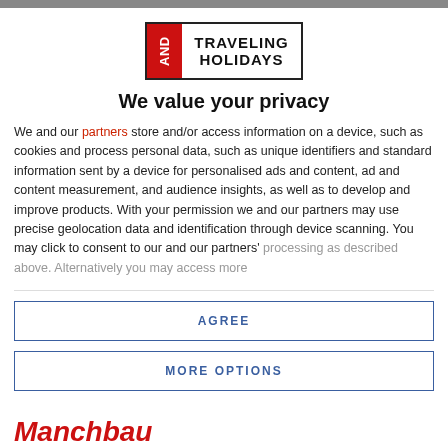[Figure (logo): AND Traveling Holidays logo with red box on left containing 'AND' text rotated, and company name on right]
We value your privacy
We and our partners store and/or access information on a device, such as cookies and process personal data, such as unique identifiers and standard information sent by a device for personalised ads and content, ad and content measurement, and audience insights, as well as to develop and improve products. With your permission we and our partners may use precise geolocation data and identification through device scanning. You may click to consent to our and our partners' processing as described above. Alternatively you may access more
AGREE
MORE OPTIONS
Manchbau